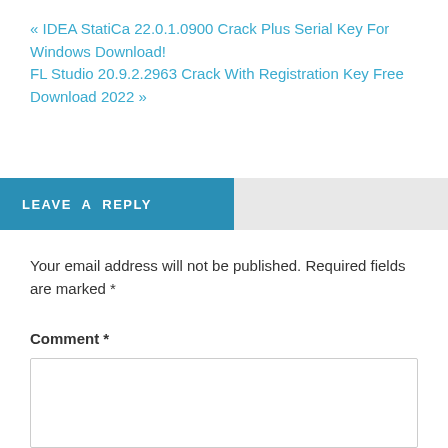« IDEA StatiCa 22.0.1.0900 Crack Plus Serial Key For Windows Download!
FL Studio 20.9.2.2963 Crack With Registration Key Free Download 2022 »
LEAVE A REPLY
Your email address will not be published. Required fields are marked *
Comment *